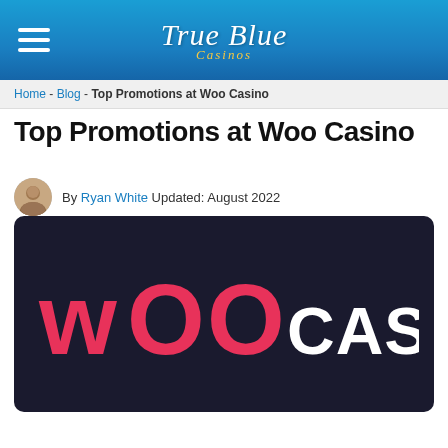True Blue Casinos
Home - Blog - Top Promotions at Woo Casino
Top Promotions at Woo Casino
By Ryan White Updated: August 2022
[Figure (logo): Woo Casino logo on dark background with pink 'WOO' text and white 'CASINO' text]